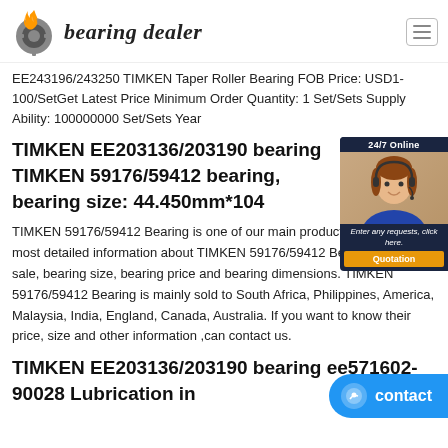[Figure (logo): Bearing Dealer logo with flaming gear icon and italic script text 'bearing dealer']
EE243196/243250 TIMKEN Taper Roller Bearing FOB Price: USD1-100/SetGet Latest Price Minimum Order Quantity: 1 Set/Sets Supply Ability: 100000000 Set/Sets Year
TIMKEN EE203136/203190 bearing TIMKEN 59176/59412 bearing, bearing size: 44.450mm*104
TIMKEN 59176/59412 Bearing is one of our main products. We have the most detailed information about TIMKEN 59176/59412 Bearing, bearing sale, bearing size, bearing price and bearing dimensions. TIMKEN 59176/59412 Bearing is mainly sold to South Africa, Philippines, America, Malaysia, India, England, Canada, Australia. If you want to know their price, size and other information ,can contact us.
TIMKEN EE203136/203190 bearing ee571602-90028 Lubrication in